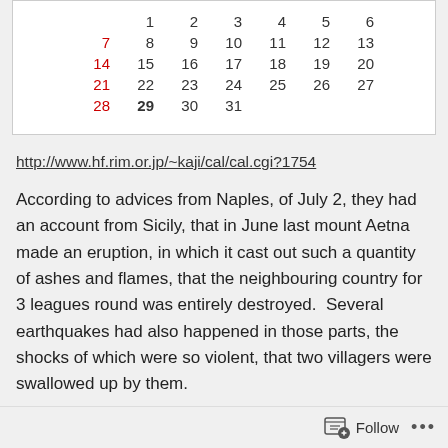|  | 1 | 2 | 3 | 4 | 5 | 6 |
| 7 | 8 | 9 | 10 | 11 | 12 | 13 |
| 14 | 15 | 16 | 17 | 18 | 19 | 20 |
| 21 | 22 | 23 | 24 | 25 | 26 | 27 |
| 28 | 29 | 30 | 31 |  |  |  |
http://www.hf.rim.or.jp/~kaji/cal/cal.cgi?1754
According to advices from Naples, of July 2, they had an account from Sicily, that in June last mount Aetna made an eruption, in which it cast out such a quantity of ashes and flames, that the neighbouring country for 3 leagues round was entirely destroyed.  Several earthquakes had also happened in those parts, the shocks of which were so violent, that two villagers were swallowed up by them.
The following excerpt is a portion of the account of the climate...
Follow ...